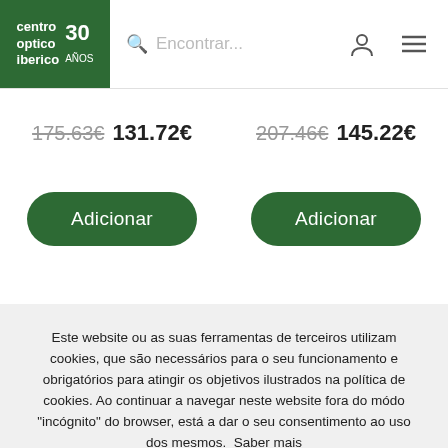[Figure (screenshot): Centro Optico Iberico logo — green background with white text 'centro optico iberico' and '30 años' anniversary mark]
Encontrar...
175.63€ 131.72€
207.46€ 145.22€
Adicionar
Adicionar
Este website ou as suas ferramentas de terceiros utilizam cookies, que são necessários para o seu funcionamento e obrigatórios para atingir os objetivos ilustrados na política de cookies. Ao continuar a navegar neste website fora do módo "incógnito" do browser, está a dar o seu consentimento ao uso dos mesmos. Saber mais
Compreendi e aceito